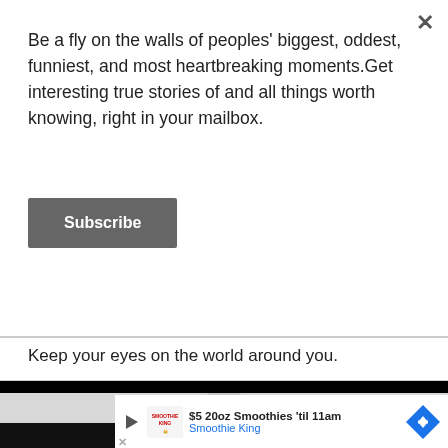Be a fly on the walls of peoples' biggest, oddest, funniest, and most heartbreaking moments.Get interesting true stories of and all things worth knowing, right in your mailbox.
Subscribe
Keep your eyes on the world around you.
[Figure (screenshot): Gray scroll handle bar with hamburger lines]
[Figure (screenshot): Advertisement banner: Smoothie King $5 20oz Smoothies til 11am with logo and arrow icon]